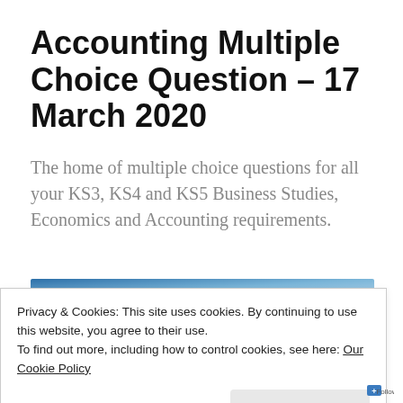Accounting Multiple Choice Question – 17 March 2020
The home of multiple choice questions for all your KS3, KS4 and KS5 Business Studies, Economics and Accounting requirements.
Privacy & Cookies: This site uses cookies. By continuing to use this website, you agree to their use.
To find out more, including how to control cookies, see here: Our Cookie Policy
Close and accept